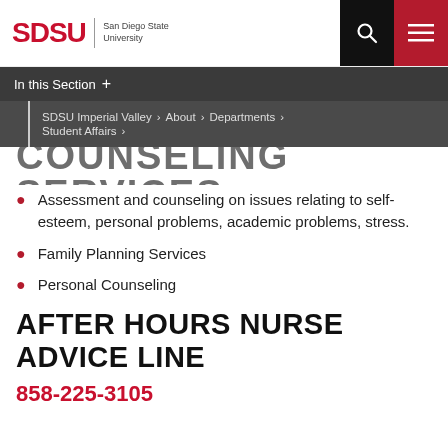SDSU | San Diego State University
In this Section +
SDSU Imperial Valley › About › Departments › Student Affairs ›
COUNSELING SERVICES
Assessment and counseling on issues relating to self-esteem, personal problems, academic problems, stress.
Family Planning Services
Personal Counseling
AFTER HOURS NURSE ADVICE LINE
858-225-3105